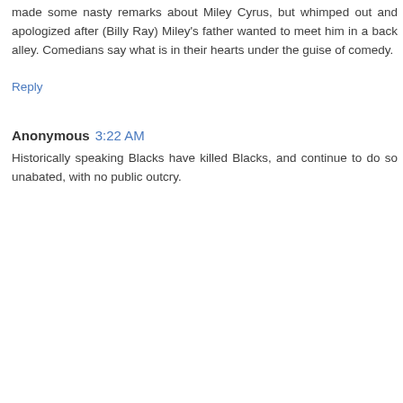made some nasty remarks about Miley Cyrus, but whimped out and apologized after (Billy Ray) Miley's father wanted to meet him in a back alley. Comedians say what is in their hearts under the guise of comedy.
Reply
Anonymous  3:22 AM
Historically speaking Blacks have killed Blacks, and continue to do so unabated, with no public outcry.